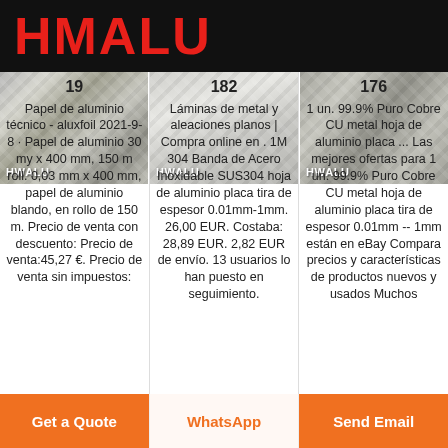HMALU
[Figure (photo): Three aluminum/metal product photos in a row with HWALU watermark logos. Left: textured aluminum with tools, Center: flat metal sheet on aluminum surface, Right: diamond-pattern aluminum sheet.]
19
Papel de aluminio técnico - aluxfoil 2021-9-8 · Papel de aluminio 30 my x 400 mm, 150 m roll. 0,03 mm x 400 mm, papel de aluminio blando, en rollo de 150 m. Precio de venta con descuento: Precio de venta:45,27 €. Precio de venta sin impuestos:
182
Láminas de metal y aleaciones planos | Compra online en . 1M 304 Banda de Acero Inoxidable SUS304 hoja de aluminio placa tira de espesor 0.01mm-1mm. 26,00 EUR. Costaba: 28,89 EUR. 2,82 EUR de envío. 13 usuarios lo han puesto en seguimiento.
176
1 un. 99.9% Puro Cobre CU metal hoja de aluminio placa ... Las mejores ofertas para 1 un. 99.9% Puro Cobre CU metal hoja de aluminio placa tira de espesor 0.01mm -- 1mm están en eBay Compara precios y características de productos nuevos y usados Muchos
Get a Quote   WhatsApp   Send Email